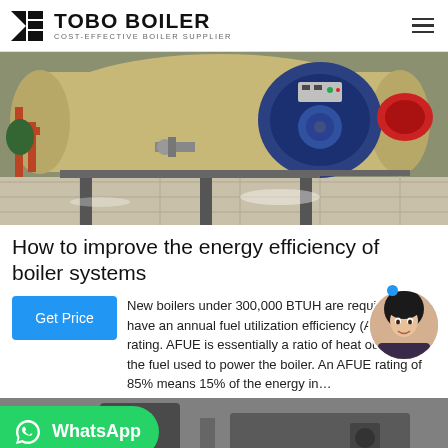TOBO BOILER — COST-EFFECTIVE BOILER SUPPLIER
[Figure (photo): Industrial boilers in a facility — large horizontal cylindrical boilers with blue front covers, piping, mounted on metal frames on a tiled floor]
How to improve the energy efficiency of boiler systems
New boilers under 300,000 BTUH are required to have an annual fuel utilization efficiency (AFUE) rating. AFUE is essentially a ratio of heat output to the fuel used to power the boiler. An AFUE rating of 85% means 15% of the energy in...
[Figure (photo): Bottom portion of industrial boiler equipment, partially visible]
Get Price
WhatsApp